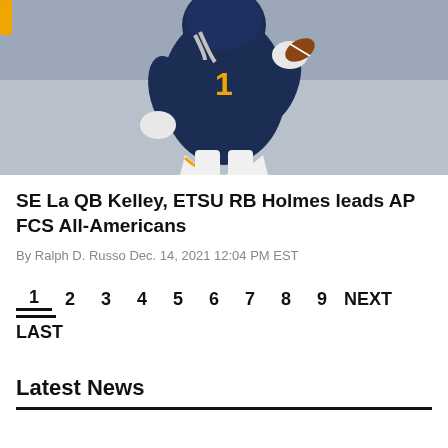[Figure (photo): Football player wearing navy blue jersey with number 1 and gold lettering, running with the ball. Player is wearing white gloves and white pants with navy and gold stripe.]
SE La QB Kelley, ETSU RB Holmes leads AP FCS All-Americans
By Ralph D. Russo Dec. 14, 2021 12:04 PM EST
1 2 3 4 5 6 7 8 9 NEXT LAST
Latest News